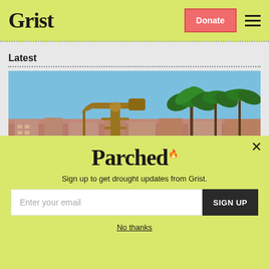Grist — Donate — Menu
Latest
[Figure (photo): Oil pump jack (pumpjack) in foreground against blue sky, with palm trees and urban buildings in background]
Parched
Sign up to get drought updates from Grist.
Enter your email — SIGN UP
No thanks